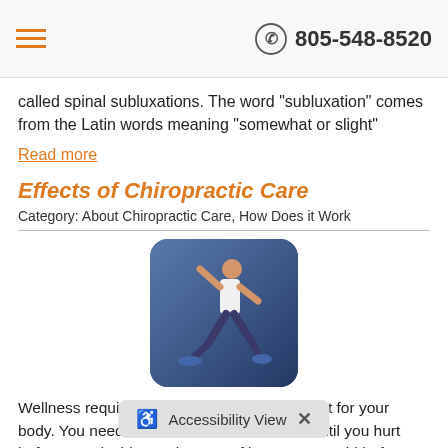805-548-8520
called spinal subluxations. The word "subluxation" comes from the Latin words meaning "somewhat or slight"
Read more
Effects of Chiropractic Care
Category: About Chiropractic Care, How Does it Work
[Figure (photo): Person running in athletic wear against a blurred blue background]
Wellness requires you to be a proactive agent for your body. You need to treat it well and not wait until you hurt before you decide to take care of it. As we've said before health is not merely the absence of disease any more than wealth is an absence of poverty. Let's remember health is not simp